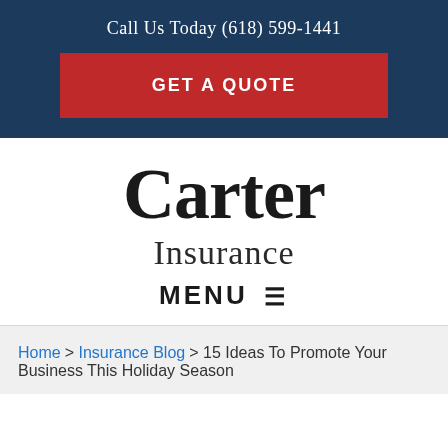Call Us Today (618) 599-1441
GET A QUOTE
Carter Insurance
MENU ☰
Home > Insurance Blog > 15 Ideas To Promote Your Business This Holiday Season